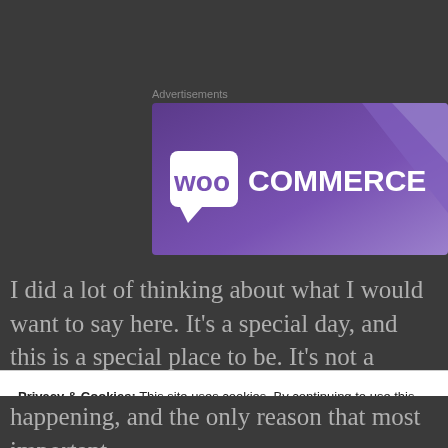Advertisements
[Figure (logo): WooCommerce logo on purple gradient background banner]
I did a lot of thinking about what I would want to say here. It's a special day, and this is a special place to be. It's not a coincidence that I asked her to host
Privacy & Cookies: This site uses cookies. By continuing to use this website, you agree to their use.
To find out more, including how to control cookies, see here: Cookie Policy
Close and accept
happening, and the only reason that most important